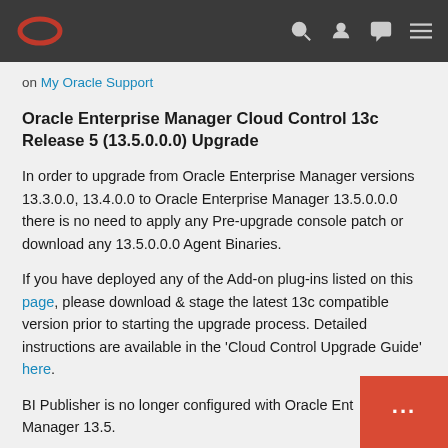Oracle navigation bar with logo and icons
on My Oracle Support
Oracle Enterprise Manager Cloud Control 13c Release 5 (13.5.0.0.0) Upgrade
In order to upgrade from Oracle Enterprise Manager versions 13.3.0.0, 13.4.0.0 to Oracle Enterprise Manager 13.5.0.0.0 there is no need to apply any Pre-upgrade console patch or download any 13.5.0.0.0 Agent Binaries.
If you have deployed any of the Add-on plug-ins listed on this page, please download & stage the latest 13c compatible version prior to starting the upgrade process. Detailed instructions are available in the 'Cloud Control Upgrade Guide' here.
BI Publisher is no longer configured with Oracle Enterprise Manager 13.5.